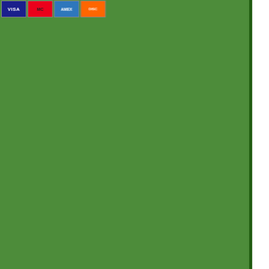[Figure (other): Payment icons: Visa, Mastercard, American Express, Discover]
6/21/2022 - 6/23/2022  June 2022  301 Norwalk Street  Greensboro, NC 27
2/24/2022 - 2/26/2022  February 2022  301 Norwalk Street  Greensboro, NC 27
11/4/2021 - 11/6/2021  November 2021  301 Norwalk Street  Greensboro, NC 27
7/22/2021 - 7/24/2021  July 2021  301 Norwalk Street  Greensboro, NC 27
4/22/2021 - 4/24/2021  April 2021  301 Norwalk Street  Greensboro, NC 27
2/25/2021 - 2/27/2021  February 2021  301 Norwalk Street  Greensboro, NC 27